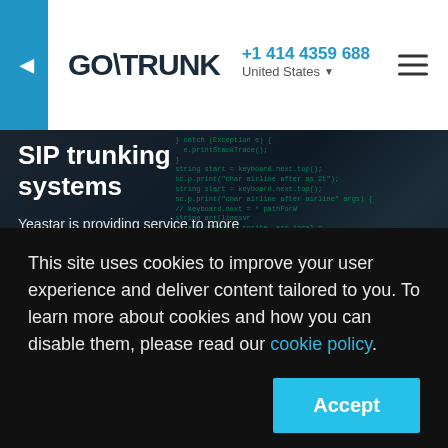GO\TRUNK | +1 414 4359 688 | United States
SIP trunking systems
Yeastar is providing service to more than 200,000 customers in over 100 countries with flexible, reliable, and powerful business communications solutions. It is one of the main leading providers of PBX System designed for SME [...]
This site uses cookies to improve your user experience and deliver content tailored to you. To learn more about cookies and how you can disable them, please read our cookie policy.